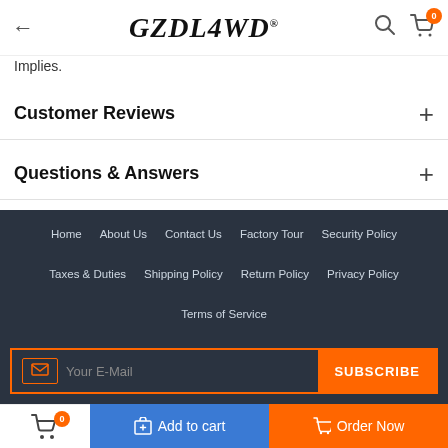← GZDL4WD® 🔍 🛒 0
Implies.
Customer Reviews +
Questions & Answers +
Home   About Us   Contact Us   Factory Tour   Security Policy   Taxes & Duties   Shipping Policy   Return Policy   Privacy Policy   Terms of Service
Your E-Mail  SUBSCRIBE
🛒 0   🛍 Add to cart   🛒 Order Now